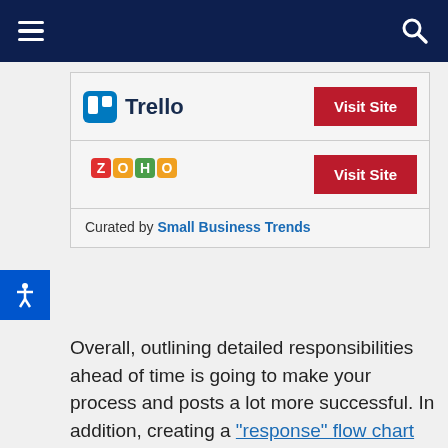[Navigation bar with hamburger menu and search icon]
| Brand | Action |
| --- | --- |
| Trello | Visit Site |
| Zoho | Visit Site |
| Curated by Small Business Trends |  |
Overall, outlining detailed responsibilities ahead of time is going to make your process and posts a lot more successful. In addition, creating a "response" flow chart can help